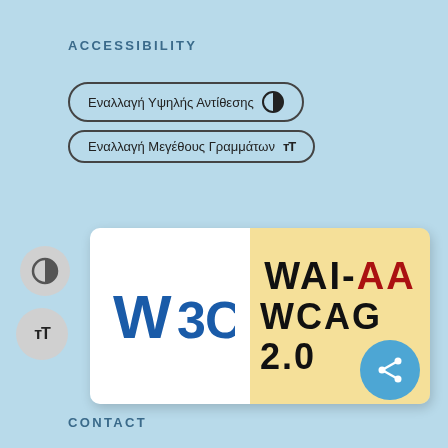ACCESSIBILITY
Εναλλαγή Υψηλής Αντίθεσης
Εναλλαγή Μεγέθους Γραμμάτων
[Figure (logo): W3C WAI-AA WCAG 2.0 compliance badge. Left half white with W3C logo in blue, right half gold/yellow with text WAI-AA WCAG 2.0 in black and red.]
CONTACT